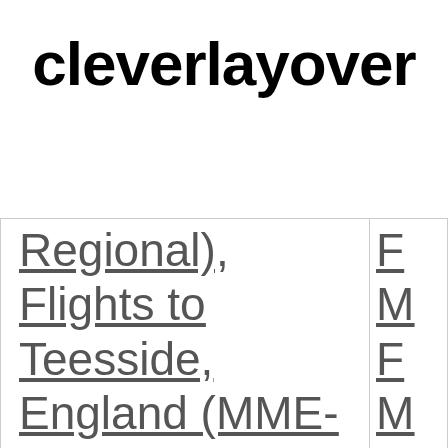cleverlayover
| Regional), Flights to Teesside, England (MME-Durham Tees Valley), | F M F M N |